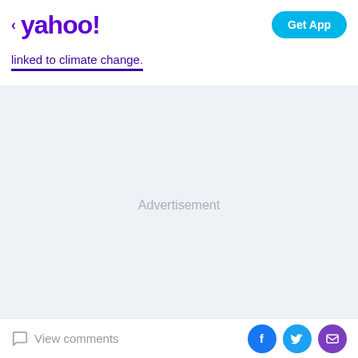yahoo! Get App
linked to climate change.
[Figure (other): Advertisement placeholder area with light blue-grey background]
'Reinventing the food system'
View comments | Facebook share | Twitter share | Mail share